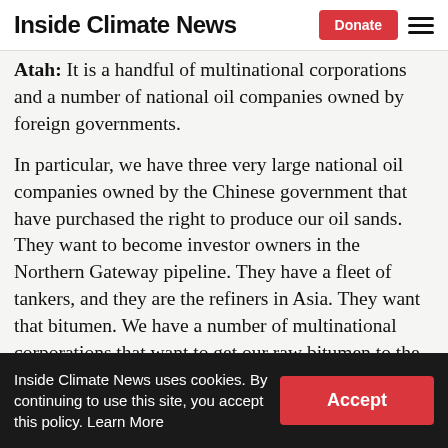Inside Climate News | Donate
Atah: It is a handful of multinational corporations and a number of national oil companies owned by foreign governments.
In particular, we have three very large national oil companies owned by the Chinese government that have purchased the right to produce our oil sands. They want to become investor owners in the Northern Gateway pipeline. They have a fleet of tankers, and they are the refiners in Asia. They want that bitumen. We have a number of multinational corporations that want to get our raw bitumen to the [Texas] Gulf Coast. And they all want to
Inside Climate News uses cookies. By continuing to use this site, you accept this policy. Learn More